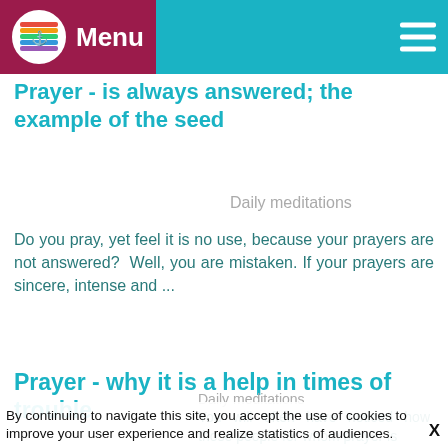Menu
Prayer - is always answered; the example of the seed
Daily meditations
Do you pray, yet feel it is no use, because your prayers are not answered? Well, you are mistaken. If your prayers are sincere, intense and ...
Prayer - why it is a help in times of trouble
By continuing to navigate this site, you accept the use of cookies to improve your user experience and realize statistics of audiences.
Daily meditations
You will often have noticed how those people for whom prayer is